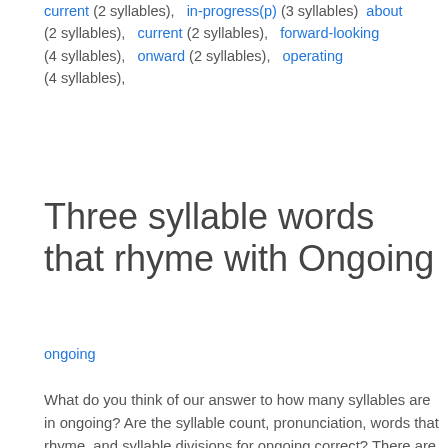(2 syllables),   in-progress(p) (3 syllables)   about (2 syllables),   current (2 syllables),   forward-looking (4 syllables),   onward (2 syllables),   operating (4 syllables),   (4 syllables),
Three syllable words that rhyme with Ongoing
ongoing
What do you think of our answer to how many syllables are in ongoing? Are the syllable count, pronunciation, words that rhyme, and syllable divisions for ongoing correct? There are numerous syllabic anomalies found within the U.S. English language. Can ongoing be pronounced differently? Did we divide the syllables correctly? Do regional variations in the pronunciation of ongoing effect the syllable count? Has language changed? Provide your comments or thoughts on the syllable count for ongoing